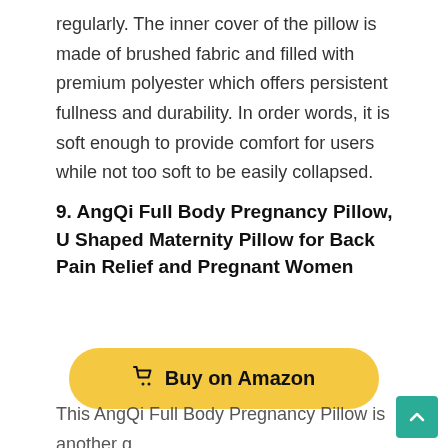regularly. The inner cover of the pillow is made of brushed fabric and filled with premium polyester which offers persistent fullness and durability. In order words, it is soft enough to provide comfort for users while not too soft to be easily collapsed.
9. AngQi Full Body Pregnancy Pillow, U Shaped Maternity Pillow for Back Pain Relief and Pregnant Women
[Figure (other): Yellow 'Buy on Amazon' button with a shopping cart icon]
This AngQi Full Body Pregnancy Pillow is another g U-shaped maternity pillow that provides effective